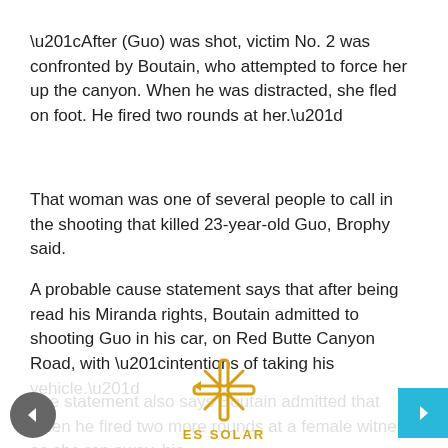“After (Guo) was shot, victim No. 2 was confronted by Boutain, who attempted to force her up the canyon. When he was distracted, she fled on foot. He fired two rounds at her.”
That woman was one of several people to call in the shooting that killed 23-year-old Guo, Brophy said.
A probable cause statement says that after being read his Miranda rights, Boutain admitted to shooting Guo in his car, on Red Butte Canyon Road, with “intentions of taking his vehicle.”
The statement also says Boutain admitted that when he fired two more rounds at a female witness as she ran away, his
[Figure (logo): ES Solar logo with asterisk/snowflake symbol in gold/yellow color]